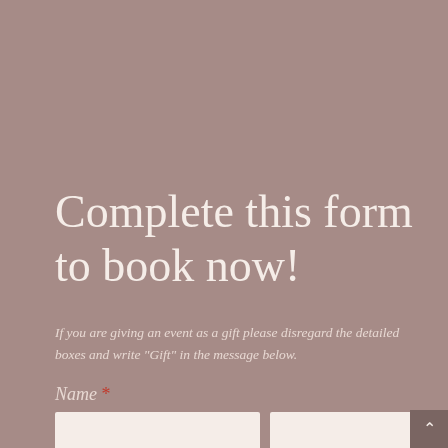Complete this form to book now!
If you are giving an event as a gift please disregard the detailed boxes and write "Gift" in the message below.
Name *